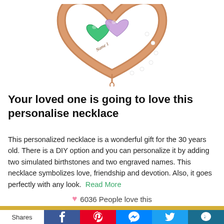[Figure (photo): Rose gold heart-shaped pendant necklace with two gemstone hearts (green emerald and pink/lavender) engraved with 'Name 1', decorated with small diamonds/crystals]
Your loved one is going to love this personalise necklace
This personalized necklace is a wonderful gift for the 30 years old. There is a DIY option and you can personalize it by adding two simulated birthstones and two engraved names. This necklace symbolizes love, friendship and devotion. Also, it goes perfectly with any look. Read More
6036 People love this
Shares | Facebook | Pinterest | Messenger | Twitter | Crown